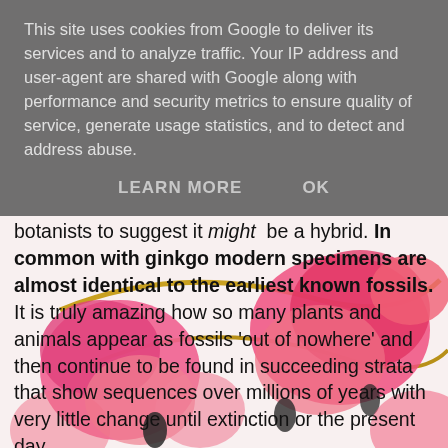[Figure (photo): Background photo of pink bleeding heart flowers (Dicentra) with stems against a white background, partially visible behind text overlays]
This site uses cookies from Google to deliver its services and to analyze traffic. Your IP address and user-agent are shared with Google along with performance and security metrics to ensure quality of service, generate usage statistics, and to detect and address abuse.
LEARN MORE    OK
botanists to suggest it might be a hybrid. In common with ginkgo modern specimens are almost identical to the earliest known fossils. It is truly amazing how so many plants and animals appear as fossils 'out of nowhere' and then continue to be found in succeeding strata that show sequences over millions of years with very little change until extinction or the present day.
To me, the startling and significant thing is that the coast redwood, Sequoia sempervirens, that giant of all trees, achieving more than 350ft high, is thought